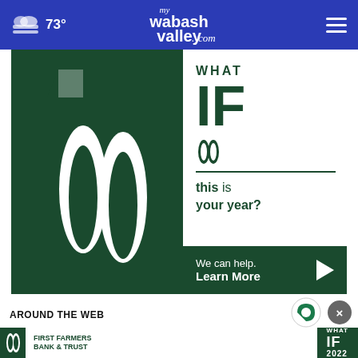73° mywabashvalley.com
[Figure (illustration): First Farmers Bank & Trust advertisement: large green '1' with leaf/flame logo on left, 'WHAT IF this is your year? We can help. Learn More' text on right with dark green CTA button]
AROUND THE WEB
[Figure (logo): Taboola circular logo (green and white)]
[Figure (illustration): First Farmers Bank & Trust bottom banner advertisement with 'WHAT IF 2022' graphic]